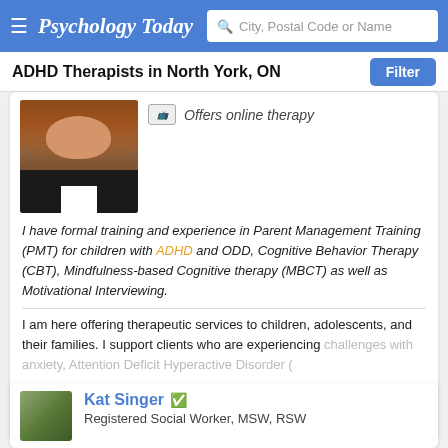Psychology Today — City, Postal Code or Name
ADHD Therapists in North York, ON
Offers online therapy
[Figure (photo): Therapist profile photo: woman with long brown hair wearing black jacket and white shirt]
I have formal training and experience in Parent Management Training (PMT) for children with ADHD and ODD, Cognitive Behavior Therapy (CBT), Mindfulness-based Cognitive therapy (MBCT) as well as Motivational Interviewing.
I am here offering therapeutic services to children, adolescents, and their families. I support clients who are experiencing challenges with anxiety, Attention Deficit Hyperactive Disorder (
Email
(289) 207-7522
Kat Singer
Registered Social Worker, MSW, RSW